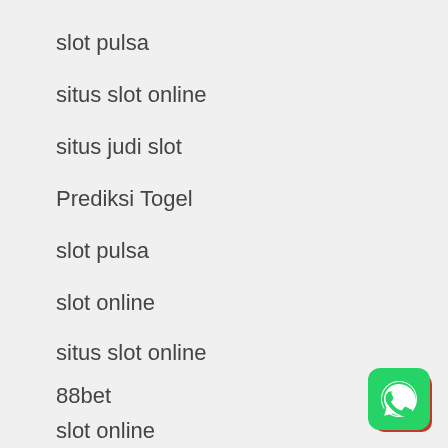slot pulsa
situs slot online
situs judi slot
Prediksi Togel
slot pulsa
slot online
situs slot online
88bet
slot online
[Figure (logo): WhatsApp logo icon — green rounded square with white phone/chat bubble symbol, overlapping red square corner]